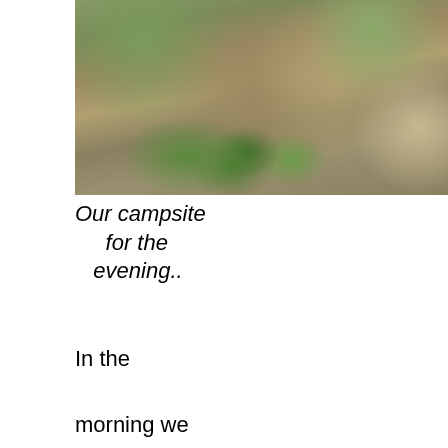[Figure (photo): A photo of a campsite area showing bare dirt ground with sparse small green plants/shrubs growing from it, shot from above or at a low angle. The ground is mostly brown earth with pebbles and occasional patches of grass.]
Our campsite for the evening..
In the morning we continued down the creek, occasionally